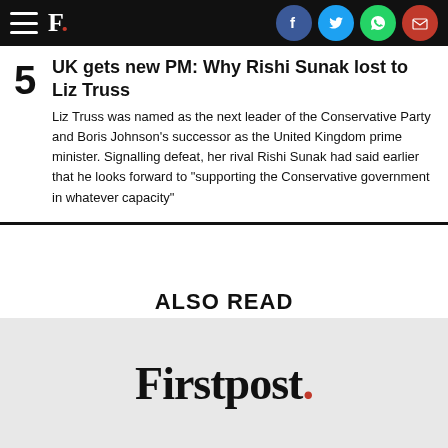F. [Firstpost logo with social icons: Facebook, Twitter, WhatsApp, Email]
UK gets new PM: Why Rishi Sunak lost to Liz Truss
Liz Truss was named as the next leader of the Conservative Party and Boris Johnson's successor as the United Kingdom prime minister. Signalling defeat, her rival Rishi Sunak had said earlier that he looks forward to "supporting the Conservative government in whatever capacity"
ALSO READ
[Figure (logo): Firstpost logo in large serif font with red dot]